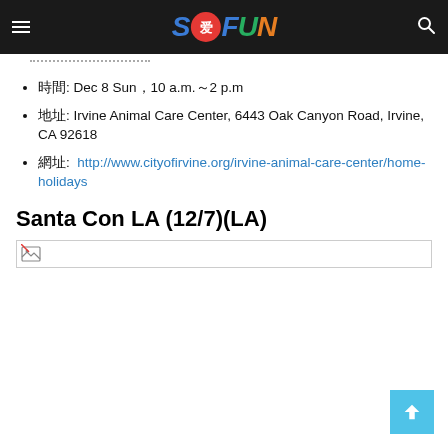SoFun
時間: Dec 8 Sun，10 a.m.～2 p.m
地址: Irvine Animal Care Center, 6443 Oak Canyon Road, Irvine, CA 92618
網址:  http://www.cityofirvine.org/irvine-animal-care-center/home-holidays
Santa Con LA (12/7)(LA)
[Figure (photo): Broken image placeholder for Santa Con LA event]